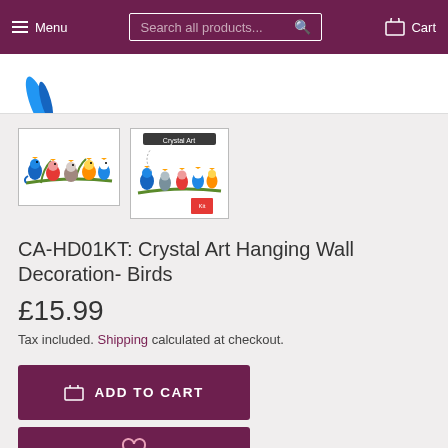Menu | Search all products... | Cart
[Figure (photo): Cropped top of main product image showing colorful birds on a branch]
[Figure (photo): Thumbnail 1: Colorful painted birds sitting on a green branch]
[Figure (photo): Thumbnail 2: Crystal Art hanging wall decoration birds with packaging/label visible]
CA-HD01KT: Crystal Art Hanging Wall Decoration- Birds
£15.99
Tax included. Shipping calculated at checkout.
ADD TO CART
[Figure (other): Wishlist heart icon button (partially visible at bottom)]